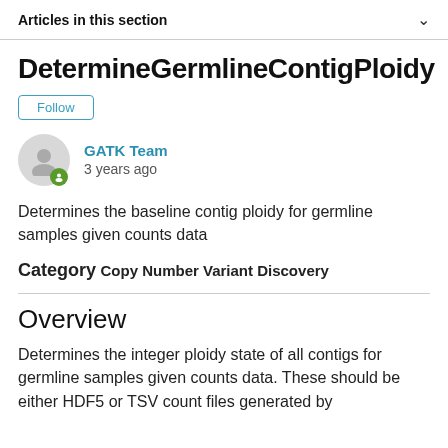Articles in this section
DetermineGermlineContigPloidy
Follow
GATK Team
3 years ago
Determines the baseline contig ploidy for germline samples given counts data
Category Copy Number Variant Discovery
Overview
Determines the integer ploidy state of all contigs for germline samples given counts data. These should be either HDF5 or TSV count files generated by